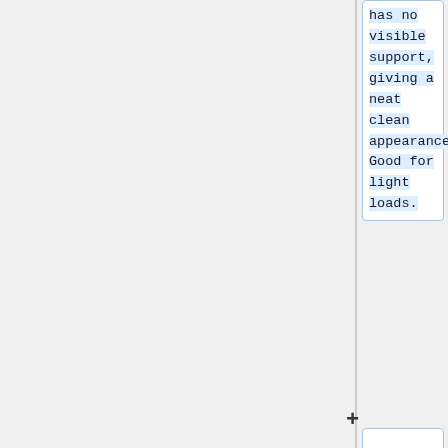has no visible support, giving a neat clean appearance. Good for light loads.
+
====Uprights ====
+
Uprights front and back is an alternative to the more common L shaped brackets. These may be